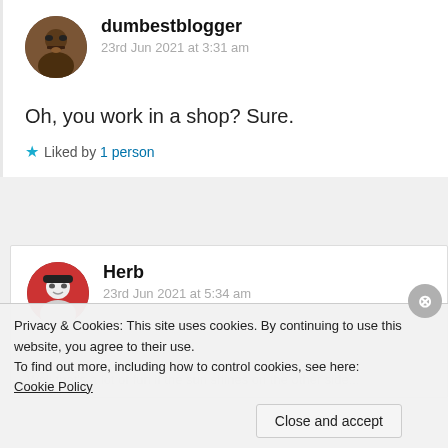dumbestblogger
23rd Jun 2021 at 3:31 am
Oh, you work in a shop? Sure.
Liked by 1 person
Herb
23rd Jun 2021 at 5:34 am
Privacy & Cookies: This site uses cookies. By continuing to use this website, you agree to their use.
To find out more, including how to control cookies, see here: Cookie Policy
Close and accept